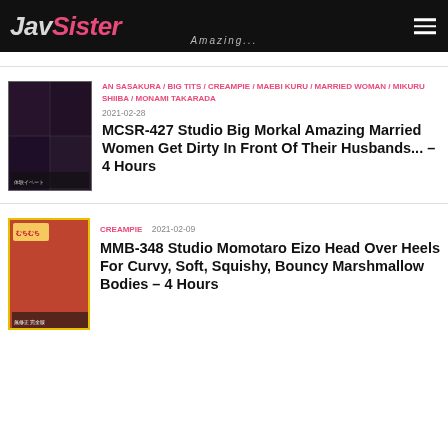JavSister Amazing
AN SASAKURA / BIG TITS / CREAMPIE / MAEBI KURU / MARRIED WOMAN / MIKURU SHIIBA / MONAMI TAKARADA 2021-02-28 MCSR-427 Studio Big Morkal Amazing Married Women Get Dirty In Front Of Their Husbands... – 4 Hours
CREAMPIE 2021-02-09 MMB-348 Studio Momotaro Eizo Head Over Heels For Curvy, Soft, Squishy, Bouncy Marshmallow Bodies – 4 Hours